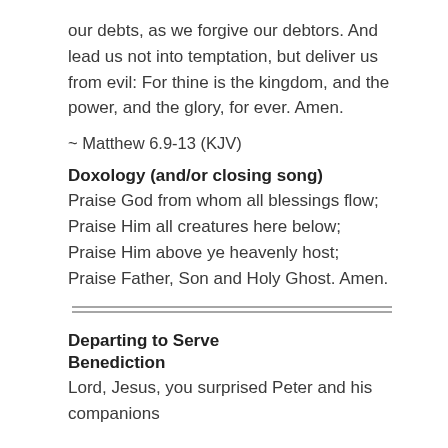our debts, as we forgive our debtors. And lead us not into temptation, but deliver us from evil: For thine is the kingdom, and the power, and the glory, for ever. Amen.
~ Matthew 6.9-13 (KJV)
Doxology (and/or closing song)
Praise God from whom all blessings flow;
Praise Him all creatures here below;
Praise Him above ye heavenly host;
Praise Father, Son and Holy Ghost. Amen.
[Figure (other): Double horizontal divider line]
Departing to Serve
Benediction
Lord, Jesus, you surprised Peter and his companions